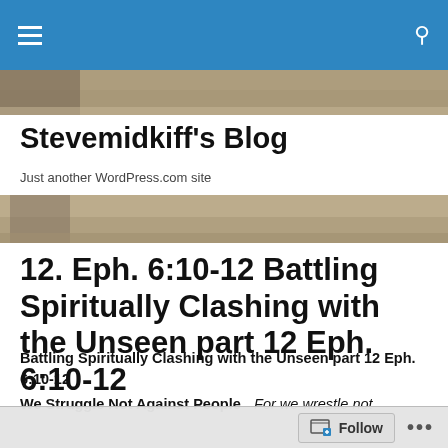Stevemidkiff's Blog — navigation bar
[Figure (photo): Cropped photo strip showing close-up of a person's hair/head, used as blog banner image (top portion)]
Stevemidkiff's Blog
Just another WordPress.com site
[Figure (photo): Cropped photo strip showing close-up of a person's hair/head, used as blog banner image (bottom portion)]
12. Eph. 6:10-12 Battling Spiritually Clashing with the Unseen part 12 Eph. 6:10-12
Battling Spiritually Clashing with the Unseen part 12 Eph. 6:10-12
We Struggle Not Against People    For we wrestle not
Follow  •••